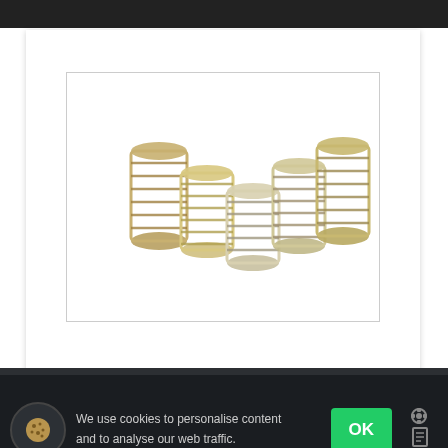[Figure (photo): Five gold/silver coil springs arranged in a V pattern on a white background — Barnett Heavy Duty Clutch Spring Set]
501-53-05114
BARNETT HEAVY DUTY CLUTCH SPRING SET HONDA
We use cookies to personalise content and to analyse our web traffic.